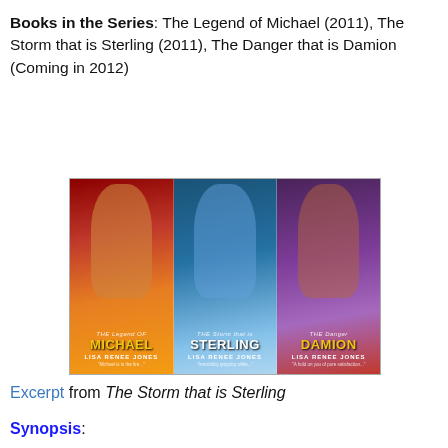Books in the Series: The Legend of Michael (2011), The Storm that is Sterling (2011), The Danger that is Damion (Coming in 2012)
[Figure (photo): Three romance novel book covers side by side: The Legend of Michael, The Storm that is Sterling, and The Danger that is Damion, all by Lisa Renee Jones. Each cover features a shirtless male figure.]
Excerpt from The Storm that is Sterling
Synopsis: